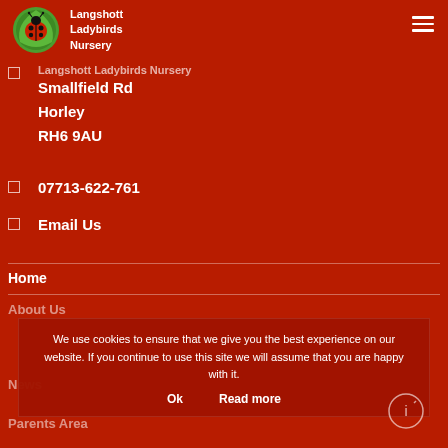Langshott Ladybirds Nursery
Langshott Ladybirds Nursery
Smallfield Rd
Horley
RH6 9AU
07713-622-761
Email Us
Home
About Us
News
Parents Area
We use cookies to ensure that we give you the best experience on our website. If you continue to use this site we will assume that you are happy with it.
Ok   Read more